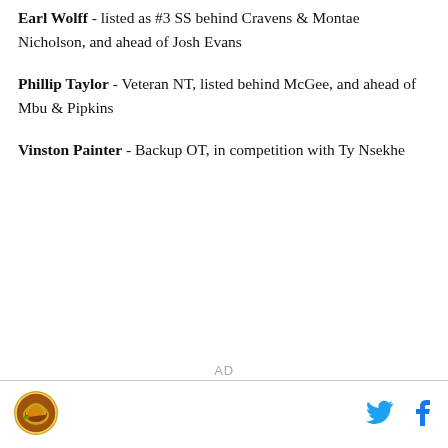Earl Wolff - listed as #3 SS behind Cravens & Montae Nicholson, and ahead of Josh Evans
Phillip Taylor - Veteran NT, listed behind McGee, and ahead of Mbu & Pipkins
Vinston Painter - Backup OT, in competition with Ty Nsekhe
AD
[Figure (logo): Sports blog logo - circular icon with helmet graphic, brown/gold colors]
[Figure (illustration): Twitter bird icon in blue]
[Figure (illustration): Facebook f icon in blue]